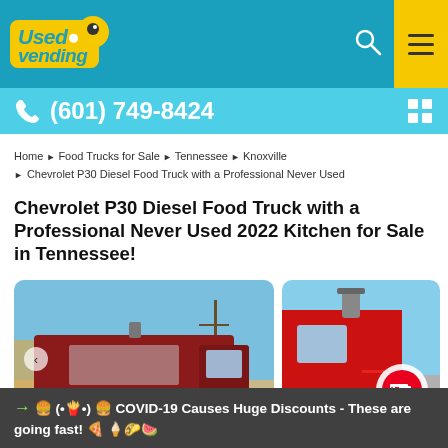Used Vending - (601) 749-8424
Home > Food Trucks for Sale > Tennessee > Knoxville > Chevrolet P30 Diesel Food Truck with a Professional Never Used
Chevrolet P30 Diesel Food Truck with a Professional Never Used 2022 Kitchen for Sale in Tennessee!
[Figure (photo): Two photos of a red Chevrolet P30 food truck parked outdoors under a blue sky]
→ 🍔 (•🍟•) 🍔 COVID-19 Causes Huge Discounts - These are going fast! 🍕 🍦🌮🍉